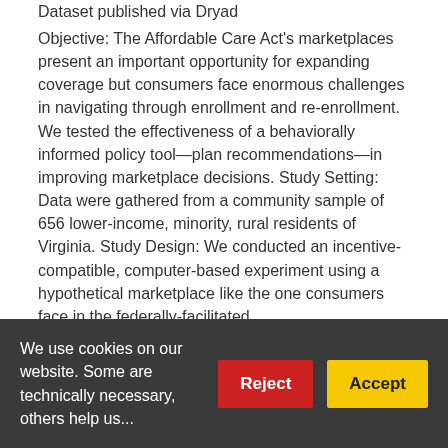Dataset published via Dryad
Objective: The Affordable Care Act's marketplaces present an important opportunity for expanding coverage but consumers face enormous challenges in navigating through enrollment and re-enrollment. We tested the effectiveness of a behaviorally informed policy tool—plan recommendations—in improving marketplace decisions. Study Setting: Data were gathered from a community sample of 656 lower-income, minority, rural residents of Virginia. Study Design: We conducted an incentive-compatible, computer-based experiment using a hypothetical marketplace like the one consumers face in the federally-facilitated...
1 citation   138 views   15 downloads
https://doi.org/10.5061/dryad.vq2s1   Cite
We use cookies on our website. Some are technically necessary, others help us...